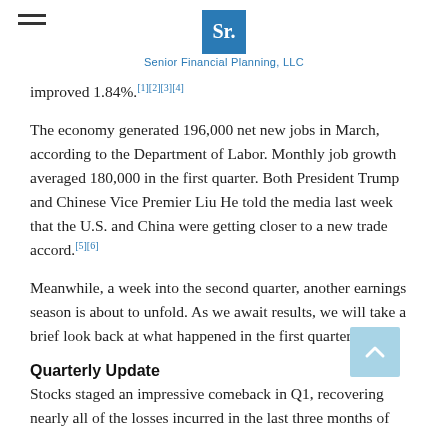Senior Financial Planning, LLC
improved 1.84%.[1][2][3][4]
The economy generated 196,000 net new jobs in March, according to the Department of Labor. Monthly job growth averaged 180,000 in the first quarter. Both President Trump and Chinese Vice Premier Liu He told the media last week that the U.S. and China were getting closer to a new trade accord.[5][6]
Meanwhile, a week into the second quarter, another earnings season is about to unfold. As we await results, we will take a brief look back at what happened in the first quarter
Quarterly Update
Stocks staged an impressive comeback in Q1, recovering nearly all of the losses incurred in the last three months of